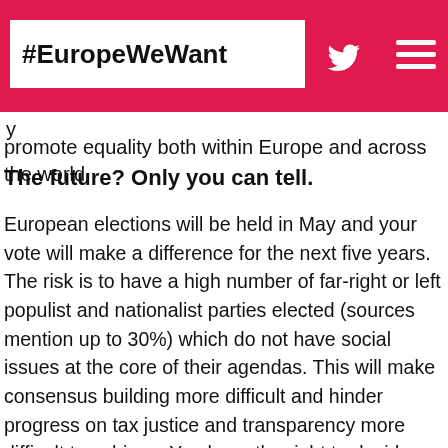#EuropeWeWant
y
promote equality both within Europe and across the world.
The future? Only you can tell.
European elections will be held in May and your vote will make a difference for the next five years. The risk is to have a high number of far-right or left populist and nationalist parties elected (sources mention up to 30%) which do not have social issues at the core of their agendas. This will make consensus building more difficult and hinder progress on tax justice and transparency more difficult to achieve. You have the right to decide who will represent you in Europe- who would you like it to